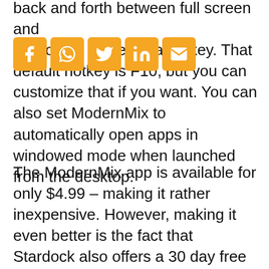ModernMix also supports the ability to toggle back and forth between full screen and windowed mode via a hotkey. That default hotkey is F10, but you can customize that if you want. You can also set ModernMix to automatically open apps in windowed mode when launched from the desktop.
[Figure (infographic): Social sharing icon bar with Facebook, WhatsApp, Twitter, LinkedIn, and Email icons in orange/yellow square buttons]
The ModernMix app is available for only $4.99 – making it rather inexpensive. However, making it even better is the fact that Stardock also offers a 30 day free trial of the application so you can try it out before you spend your five dollars.